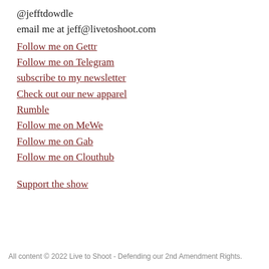@jefftdowdle
email me at jeff@livetoshoot.com
Follow me on Gettr
Follow me on Telegram
subscribe to my newsletter
Check out our new apparel
Rumble
Follow me on MeWe
Follow me on Gab
Follow me on Clouthub
Support the show
All content © 2022 Live to Shoot - Defending our 2nd Amendment Rights.